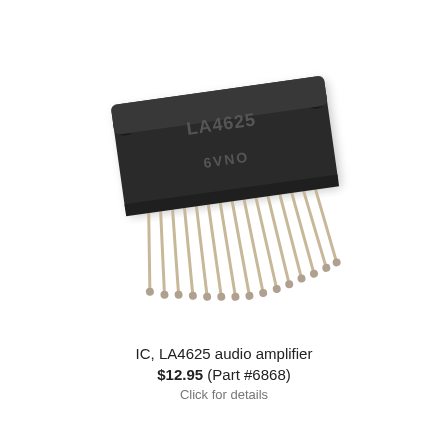[Figure (photo): Photograph of an LA4625 audio amplifier IC chip (integrated circuit) in a ZIP/SIP package with multiple metal leads/pins extending downward. The black rectangular body is labeled 'LA4625' and '6VN0'.]
IC, LA4625 audio amplifier
$12.95 (Part #6868)
Click for details